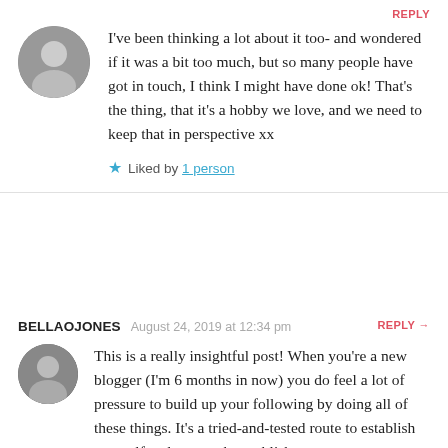REPLY
I’ve been thinking a lot about it too- and wondered if it was a bit too much, but so many people have got in touch, I think I might have done ok! That’s the thing, that it’s a hobby we love, and we need to keep that in perspective xx
★ Liked by 1 person
BELLAOJONES   August 24, 2019 at 12:34 pm   REPLY →
This is a really insightful post! When you’re a new blogger (I’m 6 months in now) you do feel a lot of pressure to build up your following by doing all of these things. It’s a tried-and-tested route to establish yourself and ensure that publishers